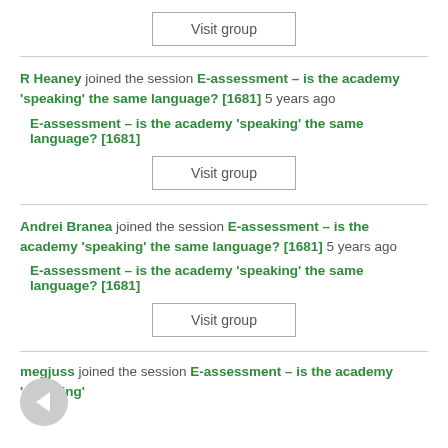[Figure (other): Visit group button at top]
R Heaney joined the session E-assessment – is the academy 'speaking' the same language? [1681] 5 years ago
E-assessment – is the academy 'speaking' the same language? [1681]
[Figure (other): Visit group button second]
Andrei Branea joined the session E-assessment – is the academy 'speaking' the same language? [1681] 5 years ago
E-assessment – is the academy 'speaking' the same language? [1681]
[Figure (other): Visit group button third]
megjuss joined the session E-assessment – is the academy 'speaking' the same language? [1681] 5 years ago